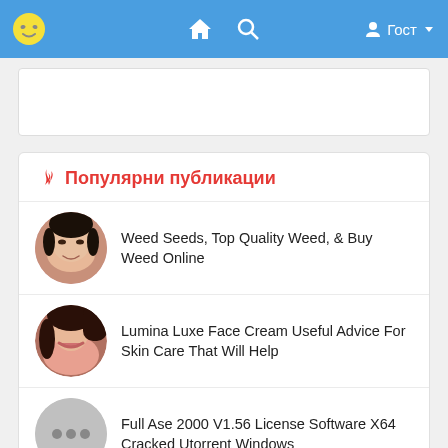Гост
[Figure (screenshot): White ad placeholder box]
🔥 Популярни публикации
Weed Seeds, Top Quality Weed, & Buy Weed Online
Lumina Luxe Face Cream Useful Advice For Skin Care That Will Help
Full Ase 2000 V1.56 License Software X64 Cracked Utorrent Windows
crypto.com exchange | crypto.com login | The Best Place to Buy, Sell